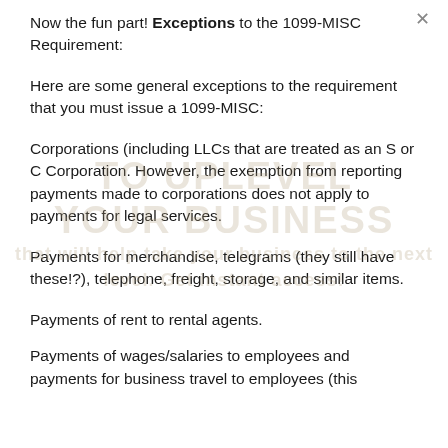Now the fun part! Exceptions to the 1099-MISC Requirement:
Here are some general exceptions to the requirement that you must issue a 1099-MISC:
Corporations (including LLCs that are treated as an S or C Corporation. However, the exemption from reporting payments made to corporations does not apply to payments for legal services.
Payments for merchandise, telegrams (they still have these!?), telephone, freight, storage, and similar items.
Payments of rent to rental agents.
Payments of wages/salaries to employees and payments for business travel to employees (this